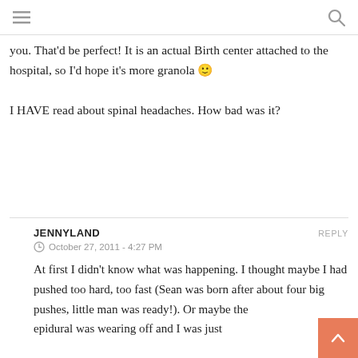≡  🔍
you. That'd be perfect! It is an actual Birth center attached to the hospital, so I'd hope it's more granola 🙂
I HAVE read about spinal headaches. How bad was it?
JENNYLAND  REPLY
⊙ October 27, 2011 - 4:27 PM
At first I didn't know what was happening. I thought maybe I had pushed too hard, too fast (Sean was born after about four big pushes, little man was ready!). Or maybe the epidural was wearing off and I was just